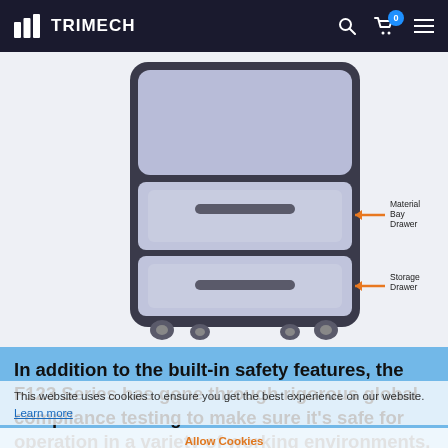TRIMECH
[Figure (engineering-diagram): A 3D rendering of an F123 Series 3D printer showing the lower portion with two labeled components: 'Material Bay Drawer' pointed to by an orange arrow on the upper drawer, and 'Storage Drawer' pointed to by an orange arrow on the lower drawer. The printer is light blue/grey with black trim and sits on casters.]
In addition to the built-in safety features, the F123 Series has gone through rigorous global compliance testing to make sure it's safe for operation in a variety of working environments.
This website uses cookies to ensure you get the best experience on our website. Learn more
Allow Cookies
For the quality printing you want, backed by